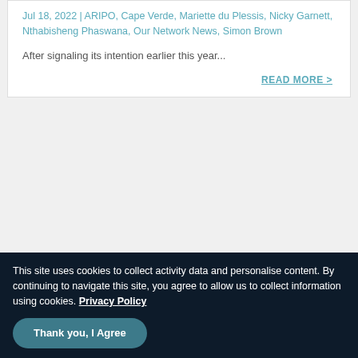Jul 18, 2022 | ARIPO, Cape Verde, Mariette du Plessis, Nicky Garnett, Nthabisheng Phaswana, Our Network News, Simon Brown
After signaling its intention earlier this year...
READ MORE >
[Figure (illustration): Kenya flag circular icon with white border]
Kenya: Court finds businesswoman guilty
This site uses cookies to collect activity data and personalise content. By continuing to navigate this site, you agree to allow us to collect information using cookies. Privacy Policy
Thank you, I Agree